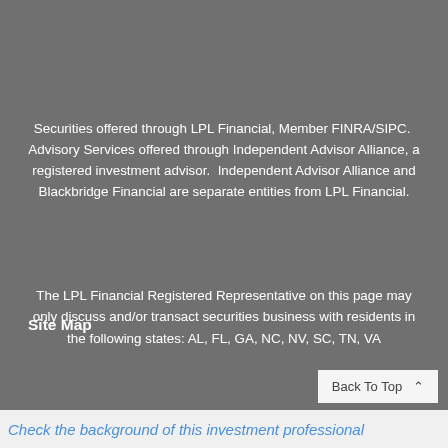Securities offered through LPL Financial, Member FINRA/SIPC.  Advisory Services offered through Independent Advisor Alliance, a registered investment advisor.  Independent Advisor Alliance and Blackbridge Financial are separate entities from LPL Financial.
The LPL Financial Registered Representative on this page may only discuss and/or transact securities business with residents in the following states: AL, FL, GA, NC, NV, SC, TN, VA
Site Map
Back To Top
Check the background of this investment professional